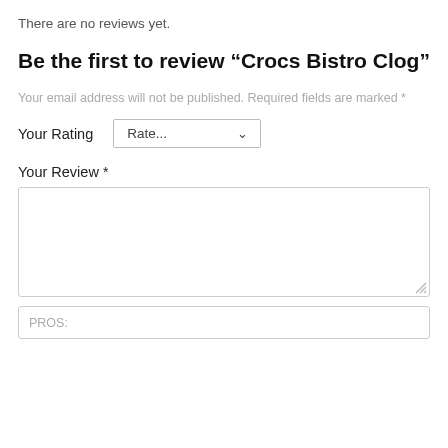There are no reviews yet.
Be the first to review “Crocs Bistro Clog”
Your email address will not be published. Required fields are marked *
Your Rating   Rate...
Your Review *
PROS: